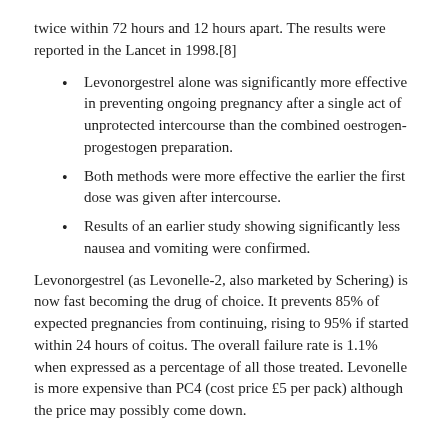twice within 72 hours and 12 hours apart. The results were reported in the Lancet in 1998.[8]
Levonorgestrel alone was significantly more effective in preventing ongoing pregnancy after a single act of unprotected intercourse than the combined oestrogen-progestogen preparation.
Both methods were more effective the earlier the first dose was given after intercourse.
Results of an earlier study showing significantly less nausea and vomiting were confirmed.
Levonorgestrel (as Levonelle-2, also marketed by Schering) is now fast becoming the drug of choice. It prevents 85% of expected pregnancies from continuing, rising to 95% if started within 24 hours of coitus. The overall failure rate is 1.1% when expressed as a percentage of all those treated. Levonelle is more expensive than PC4 (cost price £5 per pack) although the price may possibly come down.